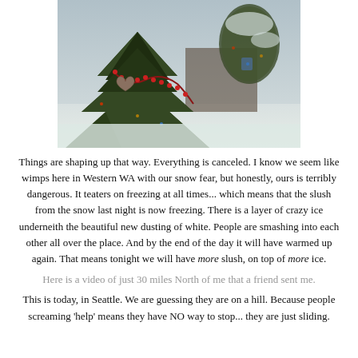[Figure (photo): Close-up photo of a Christmas tree with a heart-shaped ornament and red bead garland, with snow-covered trees and a snowy yard visible in the background]
Things are shaping up that way. Everything is canceled. I know we seem like wimps here in Western WA with our snow fear, but honestly, ours is terribly dangerous. It teaters on freezing at all times... which means that the slush from the snow last night is now freezing. There is a layer of crazy ice underneith the beautiful new dusting of white. People are smashing into each other all over the place. And by the end of the day it will have warmed up again. That means tonight we will have more slush, on top of more ice.
Here is a video of just 30 miles North of me that a friend sent me.
This is today, in Seattle. We are guessing they are on a hill. Because people screaming 'help' means they have NO way to stop... they are just sliding.